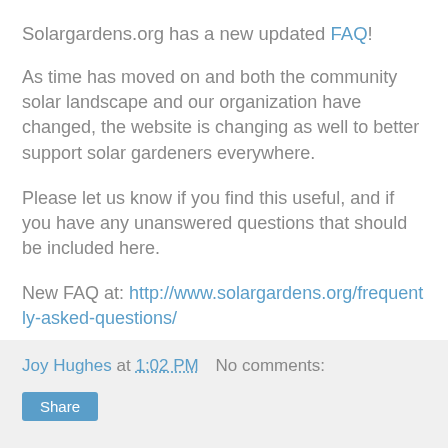Solargardens.org has a new updated FAQ!
As time has moved on and both the community solar landscape and our organization have changed, the website is changing as well to better support solar gardeners everywhere.
Please let us know if you find this useful, and if you have any unanswered questions that should be included here.
New FAQ at: http://www.solargardens.org/frequently-asked-questions/
Joy Hughes at 1:02 PM    No comments:   Share